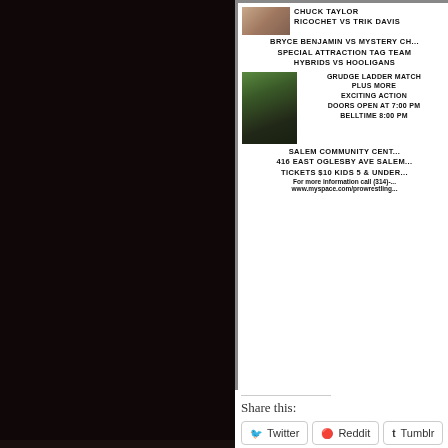[Figure (photo): Wrestling event promotional flyer showing wrestlers, event details for Salem Community Center. Text includes: CHUCK TAYLOR, RICOCHET VS TRIK DAVIS, BRYCE BENJAMIN VS MYSTERY CH..., SPECIAL ATTRACTION TAG TEAM, HYBRIDS VS HOOLIGANS, GRUDGE LADDER MATCH, PLUS MORE EXCITING ACTION, DOORS OPEN AT 7:00 PM, BELLTIME 8:00 PM, SALEM COMMUNITY CENT..., 416 EAST OGLESBY AVE SALEMM..., TICKETS $10 KIDS 5 & UNDER..., For more information call (314)-..., www.myspace.com/prowrestling...]
Share this:
Twitter
Reddit
Tumblr
Facebook
Pocket
Email
Pinterest
Print
Loading...